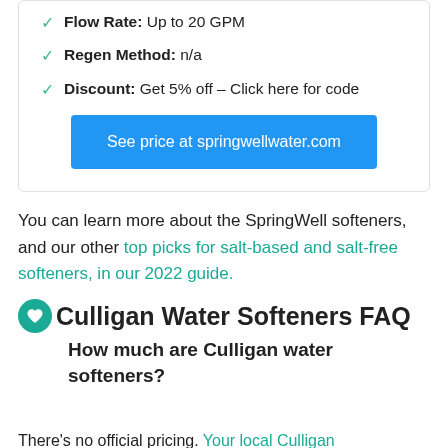Flow Rate: Up to 20 GPM
Regen Method: n/a
Discount: Get 5% off – Click here for code
See price at springwellwater.com
You can learn more about the SpringWell softeners, and our other top picks for salt-based and salt-free softeners, in our 2022 guide.
Culligan Water Softeners FAQ
How much are Culligan water softeners?
There's no official pricing. Your local Culligan